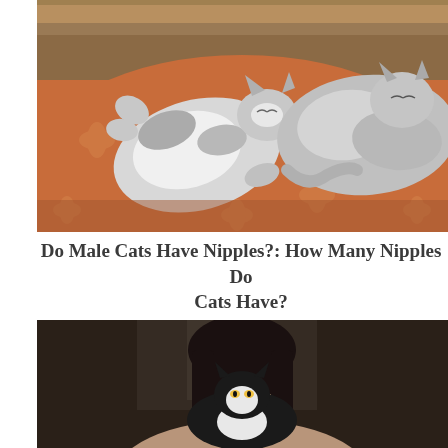[Figure (photo): Two cats lying on an orange/terracotta floral cushion or bedding. One cat is on its back showing its belly (white/gray tabby), and a second fluffy gray/white cat is sleeping next to it. A patterned rug is visible in the background.]
Do Male Cats Have Nipples?: How Many Nipples Do Cats Have?
[Figure (photo): A dark-haired woman with straight bangs holds a black and white cat up to her face, peering over it. The background is dark and blurred.]